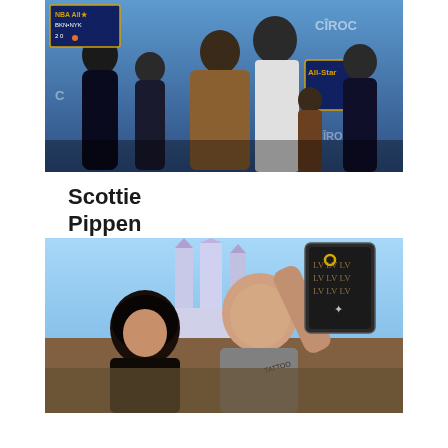[Figure (photo): Group photo of Scottie Pippen with family at NBA All-Star event with Ciroc branding backdrop]
Scottie Pippen Divorce
[Figure (photo): Couple taking a selfie at what appears to be a Disney theme park with castle in background]